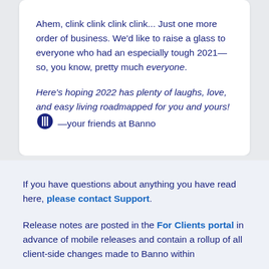Ahem, clink clink clink clink... Just one more order of business. We'd like to raise a glass to everyone who had an especially tough 2021—so, you know, pretty much everyone.
Here's hoping 2022 has plenty of laughs, love, and easy living roadmapped for you and yours! [logo] —your friends at Banno
If you have questions about anything you have read here, please contact Support.
Release notes are posted in the For Clients portal in advance of mobile releases and contain a rollup of all client-side changes made to Banno within